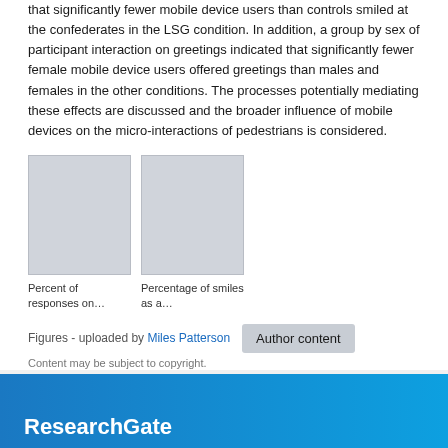that significantly fewer mobile device users than controls smiled at the confederates in the LSG condition. In addition, a group by sex of participant interaction on greetings indicated that significantly fewer female mobile device users offered greetings than males and females in the other conditions. The processes potentially mediating these effects are discussed and the broader influence of mobile devices on the micro-interactions of pedestrians is considered.
[Figure (other): Two grey placeholder image thumbnails side by side]
Percent of responses on...    Percentage of smiles as a...
Figures - uploaded by Miles Patterson   Author content
Content may be subject to copyright.
ResearchGate